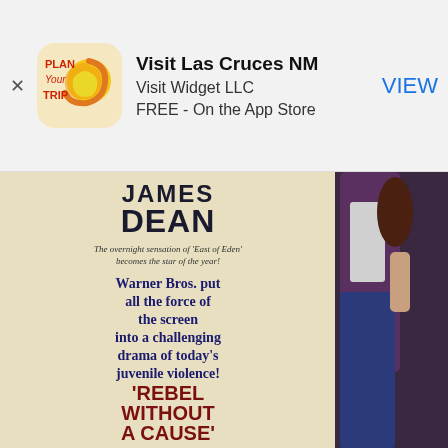[Figure (screenshot): App Store advertisement banner for 'Visit Las Cruces NM' by Visit Widget LLC. Shows app icon (Plan Your Trip with sun logo), app title, developer name, price info, and VIEW button. Background is light gray.]
[Figure (photo): Movie poster for 'Rebel Without a Cause' starring James Dean. Left panel shows title text with 'JAMES DEAN', tagline about 'East of Eden', Warner Bros. text about challenging drama of juvenile violence, 'REBEL WITHOUT A CAUSE' title in bold, CinemaScope and WarnerColor credits, and a small inset image of two people with text '...and they both come from good families!'. Right panel shows close-up photo of a couple embracing.]